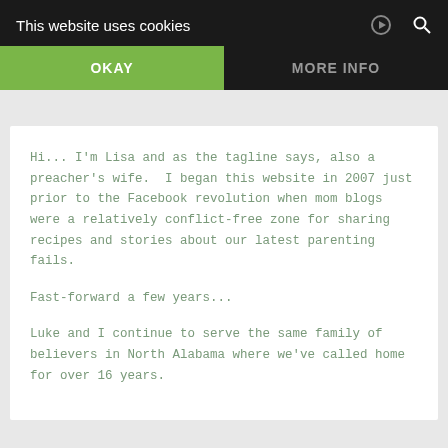This website uses cookies
OKAY
MORE INFO
Hi... I'm Lisa and as the tagline says, also a preacher's wife.  I began this website in 2007 just prior to the Facebook revolution when mom blogs were a relatively conflict-free zone for sharing recipes and stories about our latest parenting fails.
Fast-forward a few years...
Luke and I continue to serve the same family of believers in North Alabama where we've called home for over 16 years.